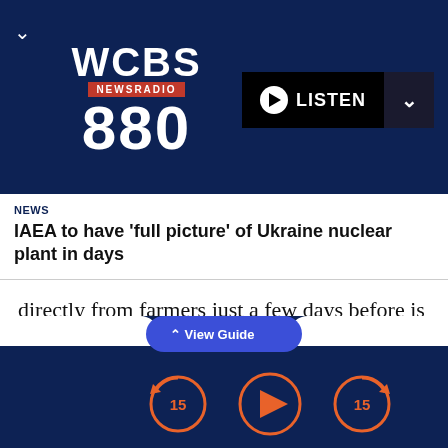[Figure (logo): WCBS Newsradio 880 logo with red NEWSRADIO banner and large white text on dark navy background]
NEWS
IAEA to have 'full picture' of Ukraine nuclear plant in days
directly from farmers just a few days before is really exciting, and we're happy to play this part," said Marcel Van Ooyen, president and CEO of GrowNYC.
The organization has been around for 50 years, but
[Figure (screenshot): Bottom navigation bar with View Guide button, rewind 15, play, and forward 15 controls in orange on dark navy background]